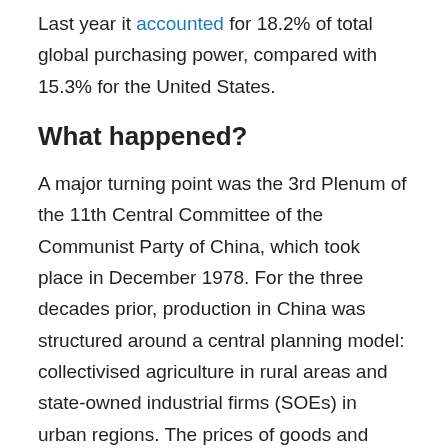Last year it accounted for 18.2% of total global purchasing power, compared with 15.3% for the United States.
What happened?
A major turning point was the 3rd Plenum of the 11th Central Committee of the Communist Party of China, which took place in December 1978. For the three decades prior, production in China was structured around a central planning model: collectivised agriculture in rural areas and state-owned industrial firms (SOEs) in urban regions. The prices of goods and services were also fixed by the government rather than determined by supply and demand.
Deng recognised that the outcomes produced by the